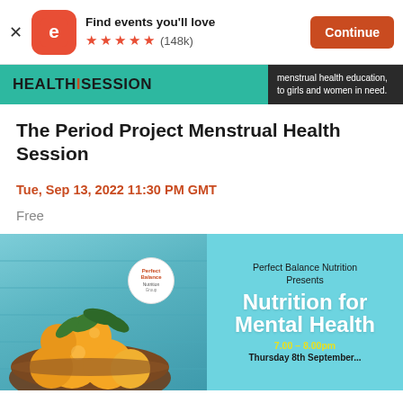[Figure (screenshot): Eventbrite app banner with orange icon showing 'e', text 'Find events you'll love', five orange stars, rating (148k), and an orange 'Continue' button. Close X on left.]
[Figure (screenshot): Teal health session banner with bold text 'HEALTH SESSION' and right dark panel with text 'menstrual health education, to girls and women in need.']
The Period Project Menstrual Health Session
Tue, Sep 13, 2022 11:30 PM GMT
Free
[Figure (photo): Promotional event image showing a wooden bowl of oranges on a light blue wooden background. Right side shows text: 'Perfect Balance Nutrition Presents', 'Nutrition for Mental Health', '7.00 – 8.00pm', 'Thursday…'. A circular logo for Perfect Balance Nutrition is overlaid in the center.]